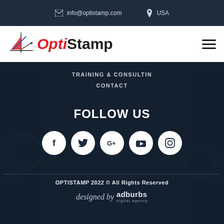info@optistamp.com | USA
[Figure (logo): OptiStamp logo with geometric sail shape in red/blue/black and bold text 'OptiStamp' with Opti in red italic]
TRAINING & CONSULTIN
CONTACT
FOLLOW US
[Figure (infographic): Row of 5 social media icons (Facebook, Twitter, Google+, YouTube, Instagram) as white circles on dark background]
OPTISTAMP 2022 © All Rights Reserved
designed by adburbs digital agency